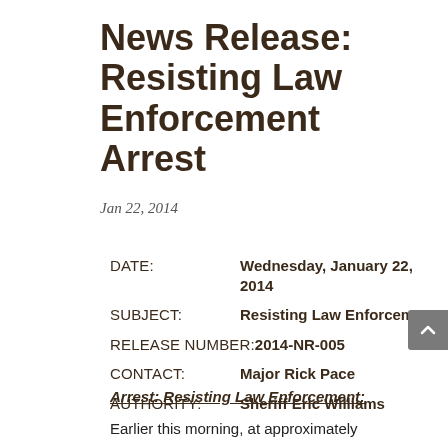News Release: Resisting Law Enforcement Arrest
Jan 22, 2014
DATE:   Wednesday, January 22, 2014
SUBJECT:   Resisting Law Enforcement
RELEASE NUMBER:   2014-NR-005
CONTACT:   Major Rick Pace
AUTHORITY:   Sheriff Eric Williams
Arrest: Resisting Law Enforcement:
Earlier this morning, at approximately